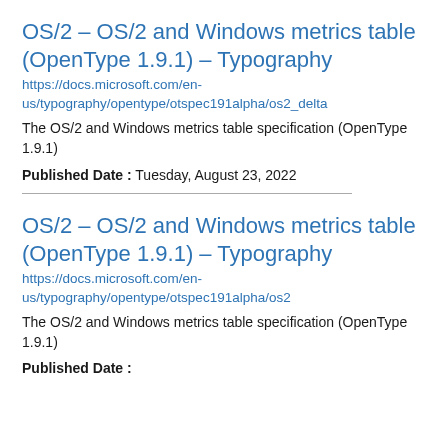OS/2 - OS/2 and Windows metrics table (OpenType 1.9.1) - Typography
https://docs.microsoft.com/en-us/typography/opentype/otspec191alpha/os2_delta
The OS/2 and Windows metrics table specification (OpenType 1.9.1)
Published Date : Tuesday, August 23, 2022
OS/2 - OS/2 and Windows metrics table (OpenType 1.9.1) - Typography
https://docs.microsoft.com/en-us/typography/opentype/otspec191alpha/os2
The OS/2 and Windows metrics table specification (OpenType 1.9.1)
Published Date :